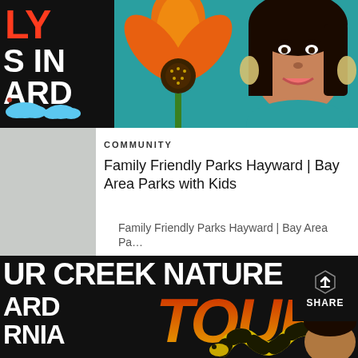[Figure (screenshot): Top portion of a YouTube video thumbnail showing text 'LY S IN ARD' in white and red on black background on left, and a woman's face with orange California poppy flower on teal background on right.]
COMMUNITY
Family Friendly Parks Hayward | Bay Area Parks with Kids
Family Friendly Parks Hayward | Bay Area Pa…
[Figure (screenshot): Bottom YouTube video thumbnail showing 'UR CREEK NATURE ARD RNIA' text in white on black, large stylized 'TOUR' text in red-orange gradient, snake illustration in yellow and black, and a person's face partially visible.]
SHARE